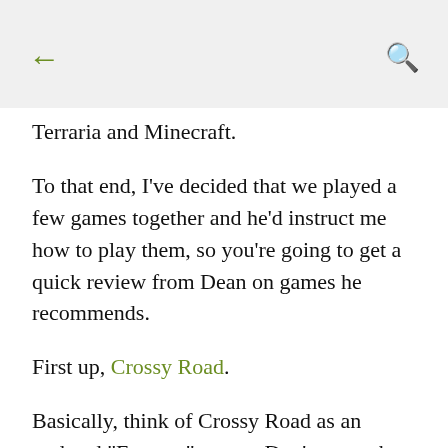← [back] [search]
Terraria and Minecraft.
To that end, I've decided that we played a few games together and he'd instruct me how to play them, so you're going to get a quick review from Dean on games he recommends.
First up, Crossy Road.
Basically, think of Crossy Road as an updated "Frogger" game.  Don't remember Frogger? (Dean really made a face you can't see on the [blog/video).]